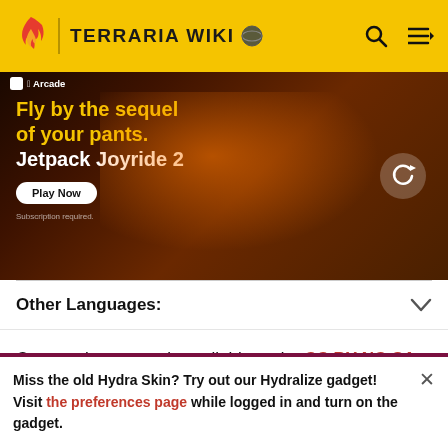TERRARIA WIKI
[Figure (screenshot): Apple Arcade advertisement banner for Jetpack Joyride 2 game with animated characters and orange/dark background. Text reads: 'Fly by the sequel of your pants. Jetpack Joyride 2' with a 'Play Now' button and 'Subscription required' disclaimer.]
Other Languages:
Community content is available under CC BY-NC-SA 3.0 unless otherwise noted.
Miss the old Hydra Skin? Try out our Hydralize gadget! Visit the preferences page while logged in and turn on the gadget.